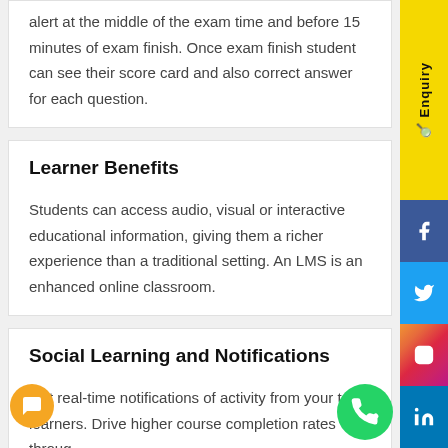alert at the middle of the exam time and before 15 minutes of exam finish. Once exam finish student can see their score card and also correct answer for each question.
Learner Benefits
Students can access audio, visual or interactive educational information, giving them a richer experience than a traditional setting. An LMS is an enhanced online classroom.
Social Learning and Notifications
Get real-time notifications of activity from your team learners. Drive higher course completion rates through...